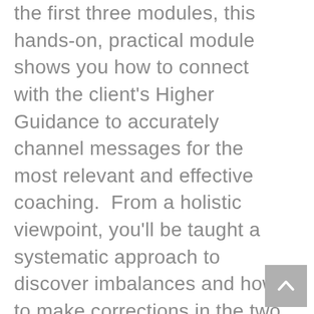the first three modules, this hands-on, practical module shows you how to connect with the client's Higher Guidance to accurately channel messages for the most relevant and effective coaching.  From a holistic viewpoint, you'll be taught a systematic approach to discover imbalances and how to make corrections in the two most challenging areas of life:  "Knowing Who You Are" and "Knowing How to Create".  You'll learn highly effective energy healing techniques developed over 20 years of research and direct experience with clients.
[Figure (other): Scroll-to-top button with upward chevron arrow, gray background, positioned in bottom-right corner]